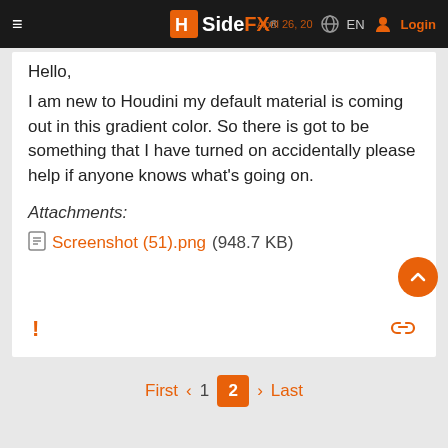SideFX — EN Login
Hello,
I am new to Houdini my default material is coming out in this gradient color. So there is got to be something that I have turned on accidentally please help if anyone knows what's going on.
Attachments:
Screenshot (51).png (948.7 KB)
First  1  2  Last